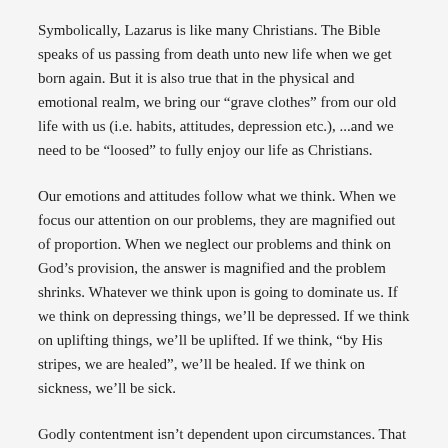Symbolically, Lazarus is like many Christians. The Bible speaks of us passing from death unto new life when we get born again. But it is also true that in the physical and emotional realm, we bring our “grave clothes” from our old life with us (i.e. habits, attitudes, depression etc.), ...and we need to be “loosed” to fully enjoy our life as Christians.
Our emotions and attitudes follow what we think. When we focus our attention on our problems, they are magnified out of proportion. When we neglect our problems and think on God’s provision, the answer is magnified and the problem shrinks. Whatever we think upon is going to dominate us. If we think on depressing things, we’ll be depressed. If we think on uplifting things, we’ll be uplifted. If we think, “by His stripes, we are healed”, we’ll be healed. If we think on sickness, we’ll be sick.
Godly contentment isn’t dependent upon circumstances. That is totally opposite of the way most people think today. No